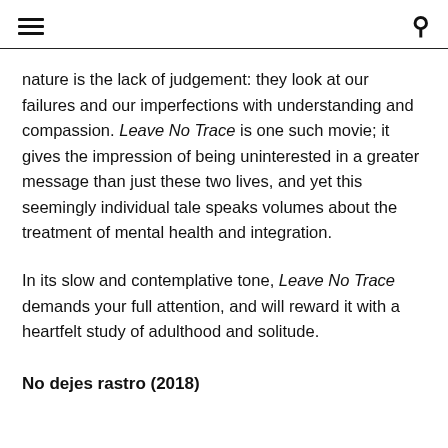[hamburger menu] [search icon]
nature is the lack of judgement: they look at our failures and our imperfections with understanding and compassion. Leave No Trace is one such movie; it gives the impression of being uninterested in a greater message than just these two lives, and yet this seemingly individual tale speaks volumes about the treatment of mental health and integration.
In its slow and contemplative tone, Leave No Trace demands your full attention, and will reward it with a heartfelt study of adulthood and solitude.
No dejes rastro (2018)